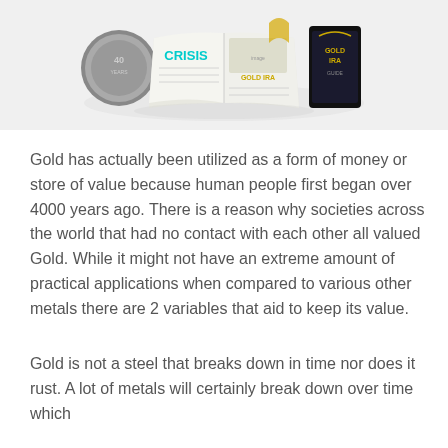[Figure (illustration): Book and coin illustration showing a gold IRA themed magazine/book cover with a coin and digital device showing 'GOLD IRA' text, with 'CRISIS' text visible on the open book]
Gold has actually been utilized as a form of money or store of value because human people first began over 4000 years ago. There is a reason why societies across the world that had no contact with each other all valued Gold. While it might not have an extreme amount of practical applications when compared to various other metals there are 2 variables that aid to keep its value.
Gold is not a steel that breaks down in time nor does it rust. A lot of metals will certainly break down over time which